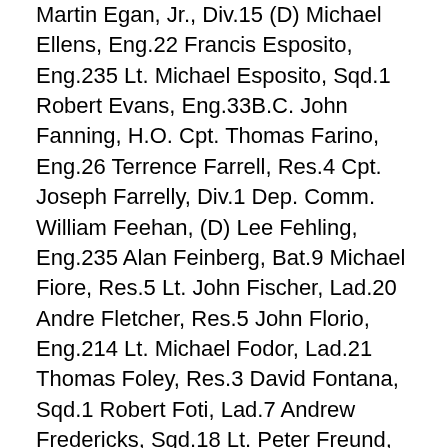Martin Egan, Jr., Div.15 (D) Michael Ellens, Eng.22 Francis Esposito, Eng.235 Lt. Michael Esposito, Sqd.1 Robert Evans, Eng.33B.C. John Fanning, H.O. Cpt. Thomas Farino, Eng.26 Terrence Farrell, Res.4 Cpt. Joseph Farrelly, Div.1 Dep. Comm. William Feehan, (D) Lee Fehling, Eng.235 Alan Feinberg, Bat.9 Michael Fiore, Res.5 Lt. John Fischer, Lad.20 Andre Fletcher, Res.5 John Florio, Eng.214 Lt. Michael Fodor, Lad.21 Thomas Foley, Res.3 David Fontana, Sqd.1 Robert Foti, Lad.7 Andrew Fredericks, Sqd.18 Lt. Peter Freund, Eng.55 Thomas Gambino Jr., Res.3 Chief of Dept. Peter Ganci, Jr. (D) Lt. Charles Garbarini, Bat.9 Thomas Gardner, Hmc.1 Matthew Garvey, Sqd.1 Bruce Gary, Eng.40 Gary Geidel, Res.1 B.C. Edward Geraghty, Bat.9 Dennis Germain, Lad.2 Lt. Vincent Giammona, Lad.5 James Giberson, Lad.35 Ronnie Gies, Sqd.288 Paul Gill, Eng.54 Lt. John Ginley, Eng.40 Jeffrey Giordano, Lad.3 John Giordano, Hmc.1